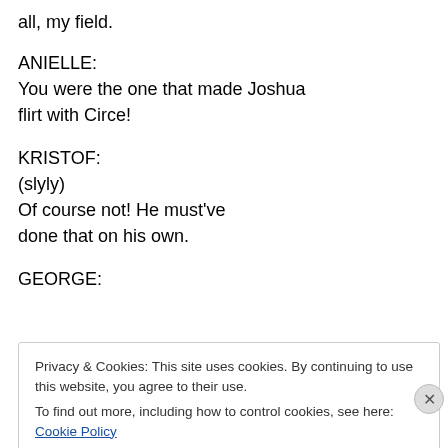all, my field.
ANIELLE:
You were the one that made Joshua flirt with Circe!
KRISTOF:
(slyly)
Of course not! He must've done that on his own.
GEORGE:
Privacy & Cookies: This site uses cookies. By continuing to use this website, you agree to their use.
To find out more, including how to control cookies, see here: Cookie Policy
Close and accept